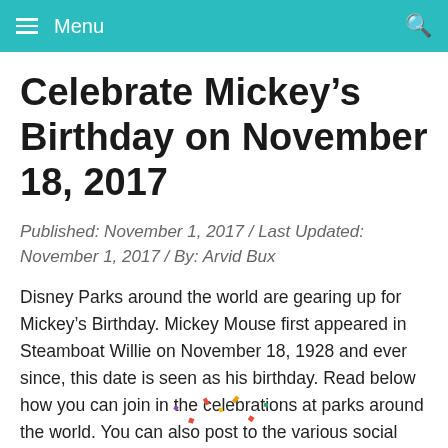Menu
Celebrate Mickey’s Birthday on November 18, 2017
Published: November 1, 2017 / Last Updated: November 1, 2017 / By: Arvid Bux
Disney Parks around the world are gearing up for Mickey’s Birthday. Mickey Mouse first appeared in Steamboat Willie on November 18, 1928 and ever since, this date is seen as his birthday. Read below how you can join in the celebrations at parks around the world. You can also post to the various social media platforms using hashtag #HappyBirthdayMickey
[Figure (illustration): Partial view of a teal circular birthday-themed illustration at the bottom of the page]